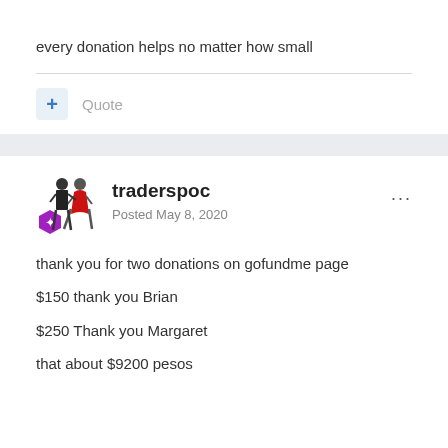every donation helps no matter how small
Quote
traderspoc
Posted May 8, 2020
thank you for two donations on gofundme page
$150 thank you Brian
$250 Thank you Margaret
that about $9200 pesos